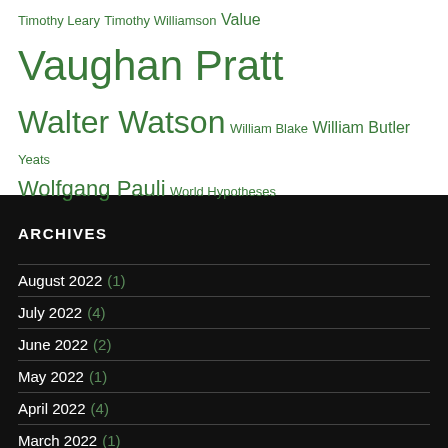Timothy Leary Timothy Williamson Value Vaughan Pratt Walter Watson William Blake William Butler Yeats Wolfgang Pauli World Hypotheses
ARCHIVES
August 2022 (1)
July 2022 (4)
June 2022 (2)
May 2022 (1)
April 2022 (4)
March 2022 (1)
February 2022 (2)